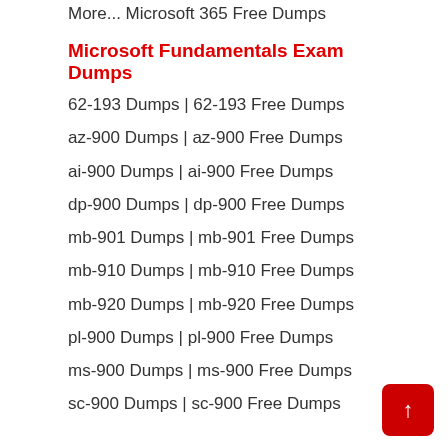More... Microsoft 365 Free Dumps
Microsoft Fundamentals Exam Dumps
62-193 Dumps | 62-193 Free Dumps
az-900 Dumps | az-900 Free Dumps
ai-900 Dumps | ai-900 Free Dumps
dp-900 Dumps | dp-900 Free Dumps
mb-901 Dumps | mb-901 Free Dumps
mb-910 Dumps | mb-910 Free Dumps
mb-920 Dumps | mb-920 Free Dumps
pl-900 Dumps | pl-900 Free Dumps
ms-900 Dumps | ms-900 Free Dumps
sc-900 Dumps | sc-900 Free Dumps